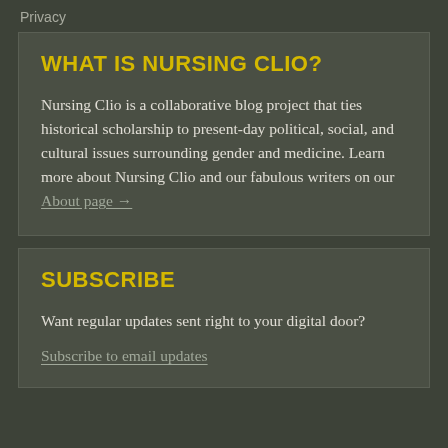Privacy
WHAT IS NURSING CLIO?
Nursing Clio is a collaborative blog project that ties historical scholarship to present-day political, social, and cultural issues surrounding gender and medicine. Learn more about Nursing Clio and our fabulous writers on our About page →
SUBSCRIBE
Want regular updates sent right to your digital door?
Subscribe to email updates